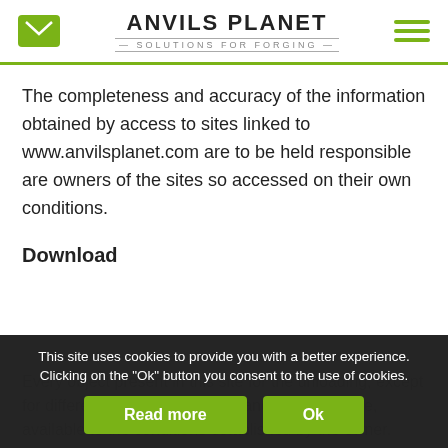ANVILS PLANET — SOLUTIONS FOR FORGING
The completeness and accuracy of the information obtained by access to sites linked to www.anvilsplanet.com are to be held responsible are owners of the sites so accessed on their own conditions.
Download
Every object present in this site for the unloading, except for different indication is, freely and free of charge, available to the conditions established by the owner.
This site uses cookies to provide you with a better experience. Clicking on the "Ok" button you consent to the use of cookies.